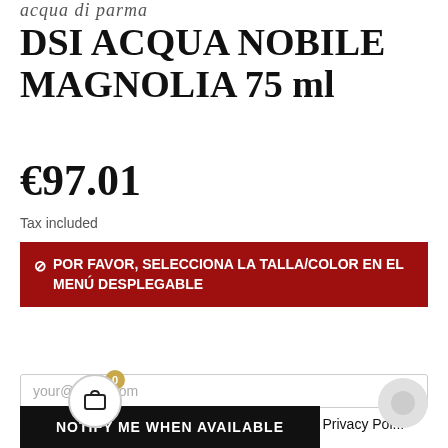acqua di parma
DSI ACQUA NOBILE MAGNOLIA 75 ml
€97.01
Tax included
⊘ POR FAVOR, SELECCIONA LA TALLA/COLOR EN EL MENÚ DESPLEGABLE
|  |  |
| --- | --- |
| Brand | ACQUA DI PARMA |
| Reference | B002641 |
your@email.com
I accept the general terms & conditions & the Privacy Po...
NOTIFY ME WHEN AVAILABLE